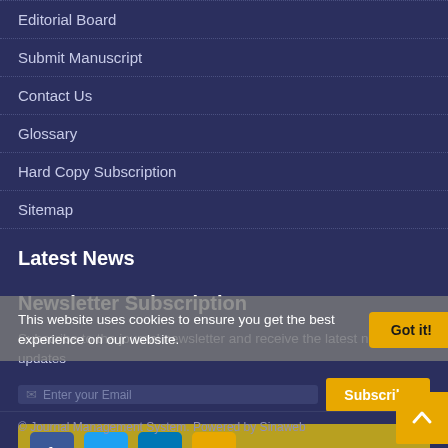Editorial Board
Submit Manuscript
Contact Us
Glossary
Hard Copy Subscription
Sitemap
Latest News
Newsletter Subscription
Subscribe to the journal newsletter and receive the latest news and updates
This website uses cookies to ensure you get the best experience on our website.
© Journal Management System. Powered by Sinaweb